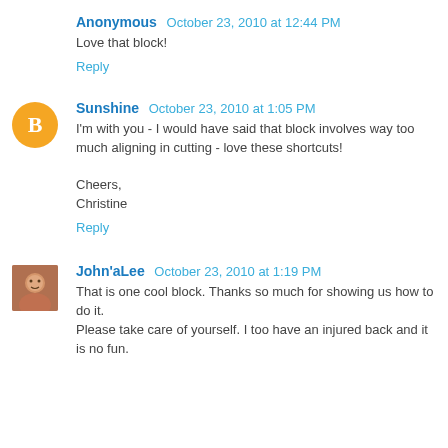Anonymous  October 23, 2010 at 12:44 PM
Love that block!
Reply
Sunshine  October 23, 2010 at 1:05 PM
I'm with you - I would have said that block involves way too much aligning in cutting - love these shortcuts!

Cheers,
Christine
Reply
John'aLee  October 23, 2010 at 1:19 PM
That is one cool block. Thanks so much for showing us how to do it.
Please take care of yourself. I too have an injured back and it is no fun.